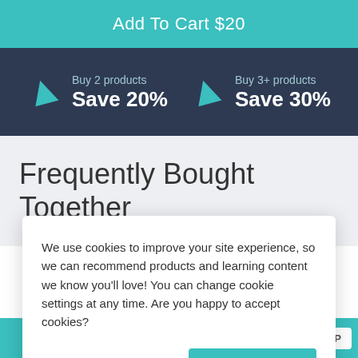Add To Cart $20
Buy 2 products Save 20%
Buy 3+ products Save 30%
Frequently Bought Together
We use cookies to improve your site experience, so we can recommend products and learning content we know you'll love! You can change cookie settings at any time. Are you happy to accept cookies?
Manage Cookie Preferences
Yes I'm Happy
Add To Cart $20
TOP